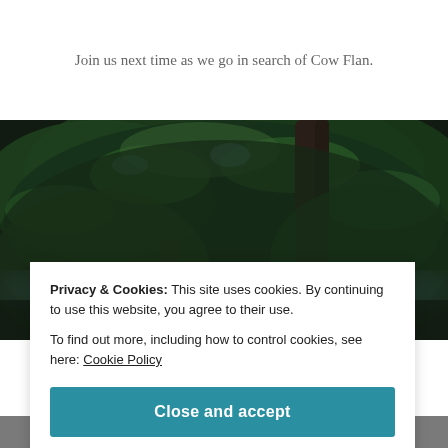Join us next time as we go in search of Cow Flan.
[Figure (photo): Looking up through dense green tree canopy with dark trunks visible, photo taken from below]
Don't Miss Our Next St...
Privacy & Cookies: This site uses cookies. By continuing to use this website, you agree to their use.
To find out more, including how to control cookies, see here: Cookie Policy
Close and accept